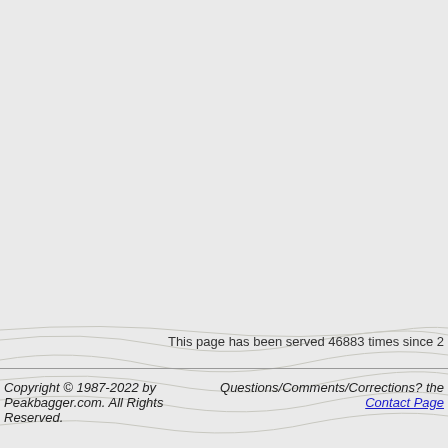[Figure (map): Map of the New York metropolitan area showing cities including White Plains, Stamford, Paterson, Yonkers, Parsippany, Hicksville, Brentwood, Elizabeth, New York, Levittown, West Babylon, Edison. Includes scale bar (30 km / 20 mi). NEW YORK state label visible. Map shows land and water areas.]
Click Here for a Full Screen M...
This page has been served 46883 times since 2...
Copyright © 1987-2022 by Peakbagger.com. All Rights Reserved.   Questions/Comments/Corrections? the Contact Page